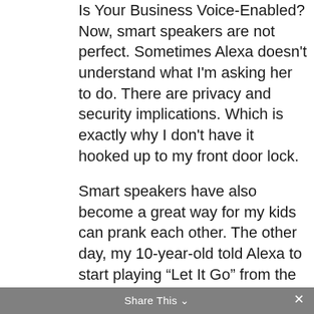Is Your Business Voice-Enabled? Now, smart speakers are not perfect. Sometimes Alexa doesn't understand what I'm asking her to do. There are privacy and security implications. Which is exactly why I don't have it hooked up to my front door lock.
Smart speakers have also become a great way for my kids can prank each other. The other day, my 10-year-old told Alexa to start playing “Let It Go” from the Frozen movie soundtrack, mostly to annoy her older sister. (I thought that was funny and pretty clever.)
Want to voice-enable your business? Let me know. Call and talk to a member of our strategy team today at: 303-473-4400. We’d love to help.
Share This ∨